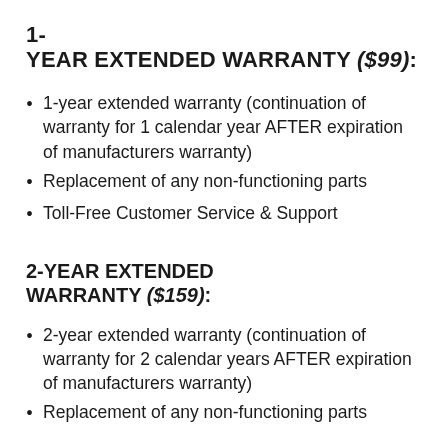1-
YEAR EXTENDED WARRANTY ($99):
1-year extended warranty (continuation of warranty for 1 calendar year AFTER expiration of manufacturers warranty)
Replacement of any non-functioning parts
Toll-Free Customer Service & Support
2-YEAR EXTENDED WARRANTY ($159):
2-year extended warranty (continuation of warranty for 2 calendar years AFTER expiration of manufacturers warranty)
Replacement of any non-functioning parts